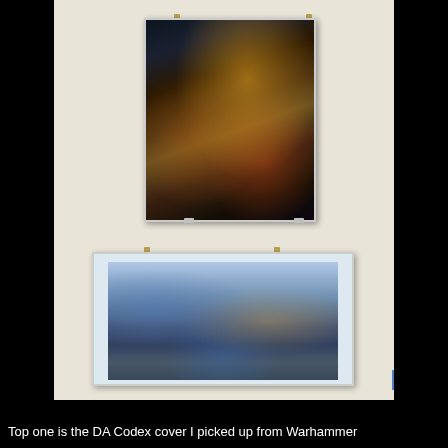[Figure (photo): Photograph of a cream/beige wall with two framed prints hanging on it. The top print is a portrait-orientation fantasy artwork (DA Codex cover) showing a dark armored warrior figure with gold and orange tones. The bottom print is a landscape-orientation fantasy artwork showing armored/colorful warrior figures in a blue icy scene. Both prints are held with small gold/brass clip frames.]
Top one is the DA Codex cover I picked up from Warhammer